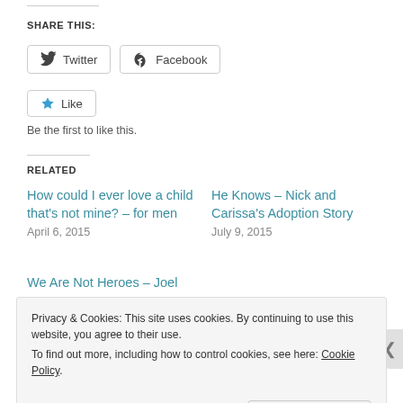SHARE THIS:
Twitter  Facebook
Like
Be the first to like this.
RELATED
How could I ever love a child that's not mine? – for men
April 6, 2015
He Knows – Nick and Carissa's Adoption Story
July 9, 2015
We Are Not Heroes – Joel and Corinna's Story
Privacy & Cookies: This site uses cookies. By continuing to use this website, you agree to their use.
To find out more, including how to control cookies, see here: Cookie Policy
Close and accept